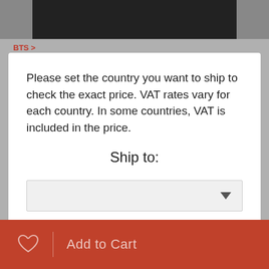[Figure (photo): Top banner image showing people in black and white/dark tones]
BTS >
Please set the country you want to ship to check the exact price. VAT rates vary for each country. In some countries, VAT is included in the price.
Ship to:
Save
X
Add to Cart